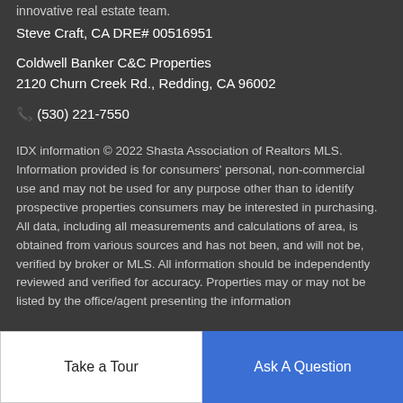innovative real estate team.
Steve Craft, CA DRE# 00516951
Coldwell Banker C&C Properties
2120 Churn Creek Rd., Redding, CA 96002
📞 (530) 221-7550
IDX information © 2022 Shasta Association of Realtors MLS. Information provided is for consumers' personal, non-commercial use and may not be used for any purpose other than to identify prospective properties consumers may be interested in purchasing. All data, including all measurements and calculations of area, is obtained from various sources and has not been, and will not be, verified by broker or MLS. All information should be independently reviewed and verified for accuracy. Properties may or may not be listed by the office/agent presenting the information
Take a Tour
Ask A Question